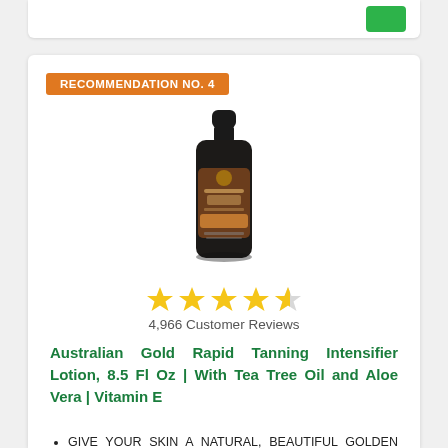RECOMMENDATION NO. 4
[Figure (photo): Australian Gold Rapid Tanning Intensifier Lotion bottle, dark/black bottle with bronze label, 8.5 fl oz]
4,966 Customer Reviews
Australian Gold Rapid Tanning Intensifier Lotion, 8.5 Fl Oz | With Tea Tree Oil and Aloe Vera | Vitamin E
GIVE YOUR SKIN A NATURAL, BEAUTIFUL GOLDEN GLOW without applying any bronzers or